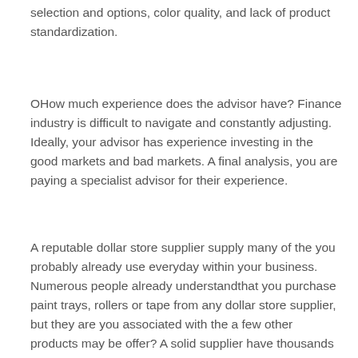selection and options, color quality, and lack of product standardization.
OHow much experience does the advisor have? Finance industry is difficult to navigate and constantly adjusting. Ideally, your advisor has experience investing in the good markets and bad markets. A final analysis, you are paying a specialist advisor for their experience.
A reputable dollar store supplier supply many of the you probably already use everyday within your business. Numerous people already understandthat you purchase paint trays, rollers or tape from any dollar store supplier, but they are you associated with the a few other products may be offer? A solid supplier have thousands of items. Sandpaper, screws, nails, and wall patch kits are a number of the building supplies they present. Wire strippers, chisels and putty knives usually are tools that